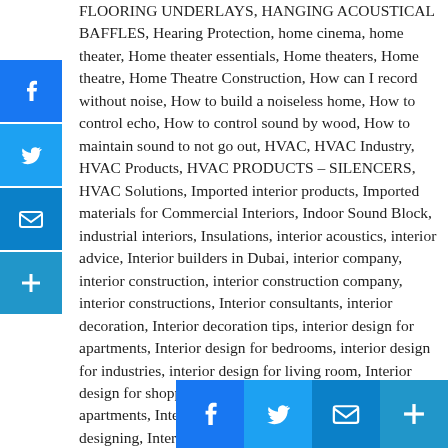FLOORING UNDERLAYS, HANGING ACOUSTICAL BAFFLES, Hearing Protection, home cinema, home theater, Home theater essentials, Home theaters, Home theatre, Home Theatre Construction, How can I record without noise, How to build a noiseless home, How to control echo, How to control sound by wood, How to maintain sound to not go out, HVAC, HVAC Industry, HVAC Products, HVAC PRODUCTS – SILENCERS, HVAC Solutions, Imported interior products, Imported materials for Commercial Interiors, Indoor Sound Block, industrial interiors, Insulations, interior acoustics, interior advice, Interior builders in Dubai, interior company, interior construction, interior construction company, interior constructions, Interior consultants, interior decoration, Interior decoration tips, interior design for apartments, Interior design for bedrooms, interior design for industries, interior design for living room, Interior design for shopping malls, interior designers for apartments, Interior designers in Dubai- UAE, interior designing, Interior designing and decoration, interior designing and decoration for commercial places, interior designing d...t, designing ideas for the home interiors, interior engineers,